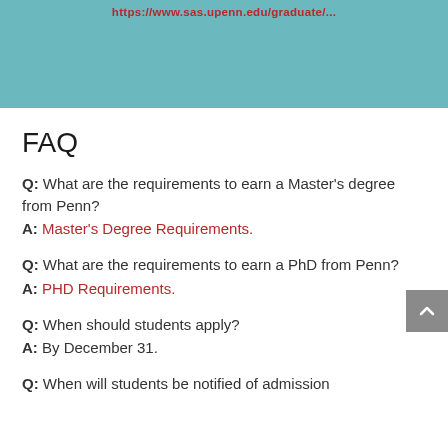https://www.sas.upenn.edu/graduate/...
FAQ
Q: What are the requirements to earn a Master's degree from Penn?
A: Master's Degree Requirements.
Q: What are the requirements to earn a PhD from Penn?
A: PHD Requirements.
Q: When should students apply?
A: By December 31.
Q: When will students be notified of admission